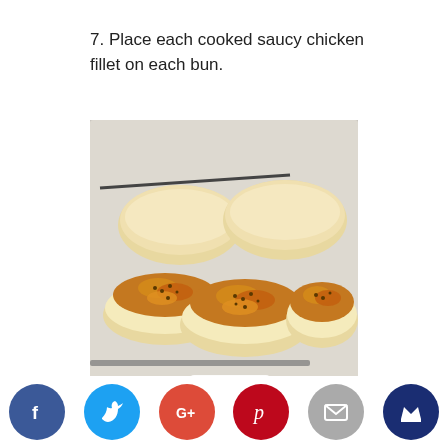7. Place each cooked saucy chicken fillet on each bun.
[Figure (photo): Photo of open burger buns on a tray, three with saucy cooked chicken fillets topped with seeds/sauce, and two plain bun tops. A Chesa Nyama branded packet visible at the bottom.]